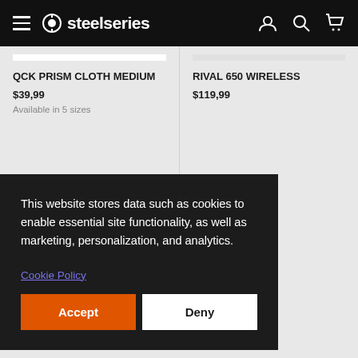steelseries navigation bar with logo and icons
QCK PRISM CLOTH MEDIUM
$39,99
Available in 5 sizes
RIVAL 650 WIRELESS
$119,99
This website stores data such as cookies to enable essential site functionality, as well as marketing, personalization, and analytics.
Cookie Policy
Accept
Deny
RIVAL 600